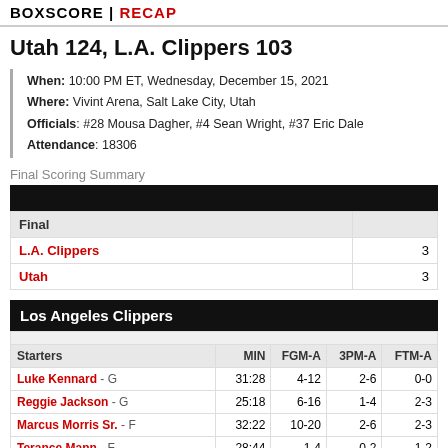BOXSCORE | RECAP
Utah 124, L.A. Clippers 103
When: 10:00 PM ET, Wednesday, December 15, 2021
Where: Vivint Arena, Salt Lake City, Utah
Officials: #28 Mousa Dagher, #4 Sean Wright, #37 Eric Dale
Attendance: 18306
Final Scoring Summary
| Final |  |
| --- | --- |
| L.A. Clippers | 3 |
| Utah | 3 |
Los Angeles Clippers
| Starters | MIN | FGM-A | 3PM-A | FTM-A |
| --- | --- | --- | --- | --- |
| Luke Kennard - G | 31:28 | 4-12 | 2-6 | 0-0 |
| Reggie Jackson - G | 25:18 | 6-16 | 1-4 | 2-3 |
| Marcus Morris Sr. - F | 32:22 | 10-20 | 2-6 | 2-3 |
| Terance Mann - F | 28:44 | 1-4 | 0-2 | 1-2 |
| Ivica Zubac - C | 18:08 | 2-4 | 0-0 | 0-0 |
| Bench | MIN | FGM-A | 3PM-A | FTM-A |
| Eric Bledsoe | 31:10 | 8-10 | 4-5 | 1-3 |
| Isaiah Hartenstein | 24:34 | 6-9 | 0-0 | 3-3 |
| Justise Winslow | 18:42 | 1-1 | 1-1 | 0-0 |
| Brandon Boston Jr. | 16:16 | 1-5 | 0-4 | 2-2 |